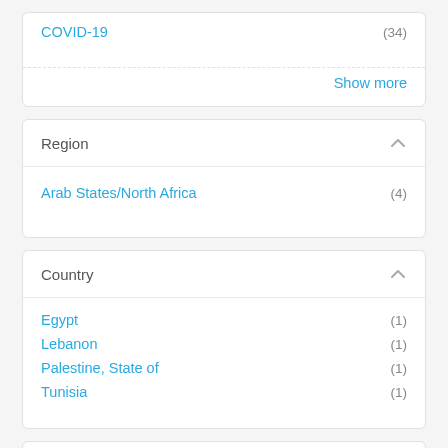COVID-19 (34)
Show more
Region
Arab States/North Africa (4)
Country
Egypt (1)
Lebanon (1)
Palestine, State of (1)
Tunisia (1)
Published by